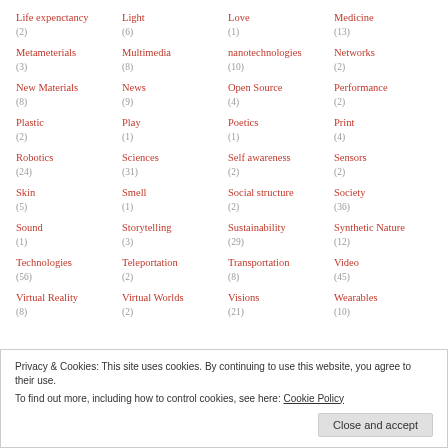Life expenctancy (2)
Light (6)
Love (1)
Medicine (13)
Metameterials (3)
Multimedia (8)
nanotechnologies (10)
Networks (2)
New Materials (8)
News (9)
Open Source (4)
Performance (2)
Plastic (2)
Play (1)
Poetics (1)
Print (4)
Robotics (24)
Sciences (31)
Self awareness (2)
Sensors (2)
Skin (5)
Smell (1)
Social structure (2)
Society (36)
Sound (1)
Storytelling (3)
Sustainability (29)
Synthetic Nature (12)
Technologies (56)
Teleportation (2)
Transportation (8)
Video (45)
Virtual Reality (8)
Virtual Worlds (2)
Visions (21)
Wearables (10)
Privacy & Cookies: This site uses cookies. By continuing to use this website, you agree to their use. To find out more, including how to control cookies, see here: Cookie Policy